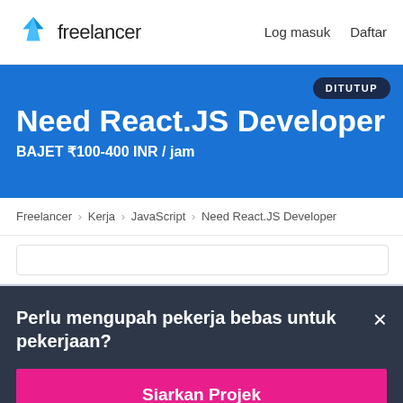freelancer  Log masuk  Daftar
Need React.JS Developer
BAJET ₹100-400 INR / jam
DITUTUP
Freelancer › Kerja › JavaScript › Need React.JS Developer
Perlu mengupah pekerja bebas untuk pekerjaan?
Siarkan Projek